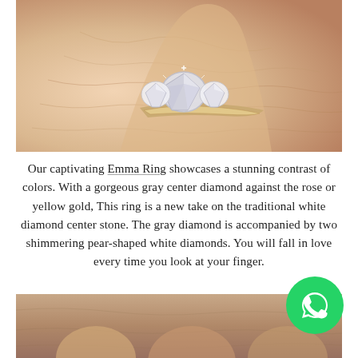[Figure (photo): Close-up photo of a diamond ring with gray center stone and pear-shaped white side diamonds on a rose/yellow gold band, worn on a hand]
Our captivating Emma Ring showcases a stunning contrast of colors. With a gorgeous gray center diamond against the rose or yellow gold, This ring is a new take on the traditional white diamond center stone. The gray diamond is accompanied by two shimmering pear-shaped white diamonds. You will fall in love every time you look at your finger.
[Figure (photo): Close-up photo of fingers/hand, partial view at bottom of page]
[Figure (logo): WhatsApp green circular button icon in bottom right corner]